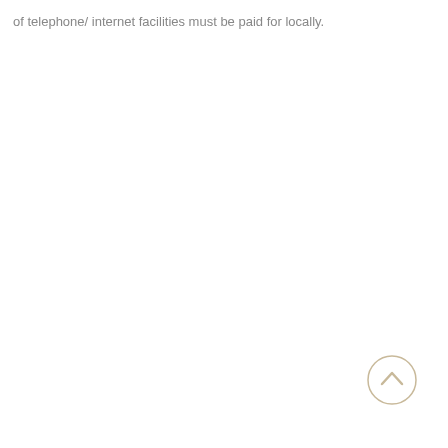of telephone/ internet facilities must be paid for locally.
[Figure (other): Back to top button: a circle with an upward-pointing chevron arrow in gold/tan color]